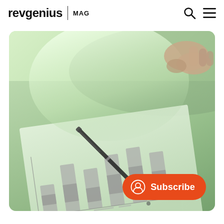revgenius | MAG
[Figure (photo): A hand holding a pen pointing at a bar chart on paper, with a green tint overlay. A Subscribe button is overlaid at the bottom right.]